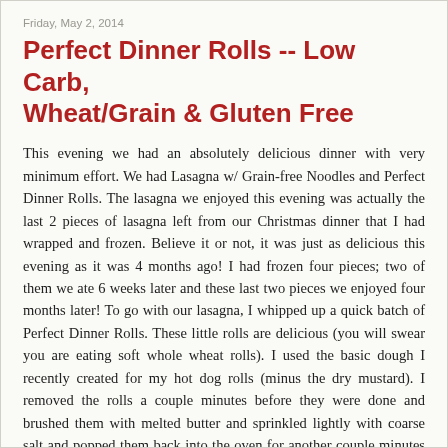Friday, May 2, 2014
Perfect Dinner Rolls -- Low Carb, Wheat/Grain & Gluten Free
This evening we had an absolutely delicious dinner with very minimum effort. We had Lasagna w/ Grain-free Noodles and Perfect Dinner Rolls. The lasagna we enjoyed this evening was actually the last 2 pieces of lasagna left from our Christmas dinner that I had wrapped and frozen. Believe it or not, it was just as delicious this evening as it was 4 months ago! I had frozen four pieces; two of them we ate 6 weeks later and these last two pieces we enjoyed four months later! To go with our lasagna, I whipped up a quick batch of Perfect Dinner Rolls. These little rolls are delicious (you will swear you are eating soft whole wheat rolls). I used the basic dough I recently created for my hot dog rolls (minus the dry mustard). I removed the rolls a couple minutes before they were done and brushed them with melted butter and sprinkled lightly with coarse salt and popped them back into the oven for another couple minutes until they were golden brown. They were amazing!